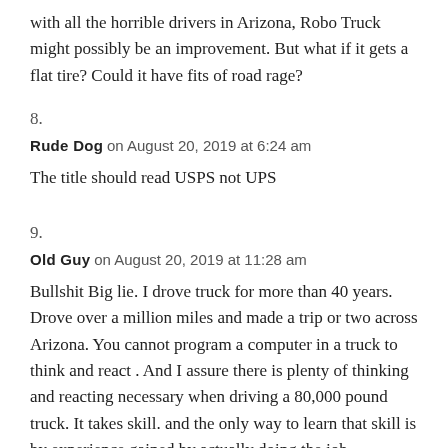with all the horrible drivers in Arizona, Robo Truck might possibly be an improvement. But what if it gets a flat tire? Could it have fits of road rage?
8.
Rude Dog on August 20, 2019 at 6:24 am
The title should read USPS not UPS
9.
Old Guy on August 20, 2019 at 11:28 am
Bullshit Big lie. I drove truck for more than 40 years. Drove over a million miles and made a trip or two across Arizona. You cannot program a computer in a truck to think and react . And I assure there is plenty of thinking and reacting necessary when driving a 80,000 pound truck. It takes skill. and the only way to learn that skill is by experience gained by actually doing the job.